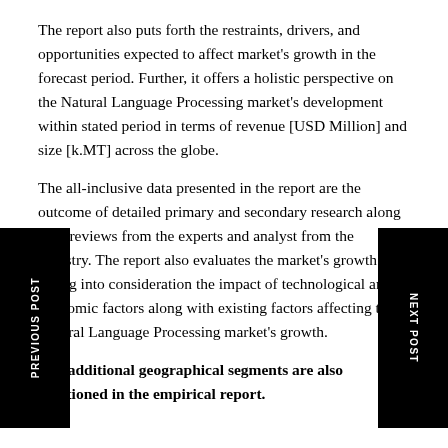The report also puts forth the restraints, drivers, and opportunities expected to affect market's growth in the forecast period. Further, it offers a holistic perspective on the Natural Language Processing market's development within stated period in terms of revenue [USD Million] and size [k.MT] across the globe. The all-inclusive data presented in the report are the outcome of detailed primary and secondary research along with reviews from the experts and analyst from the industry. The report also evaluates the market's growth by taking into consideration the impact of technological and economic factors along with existing factors affecting the Natural Language Processing market's growth.
The additional geographical segments are also mentioned in the empirical report.